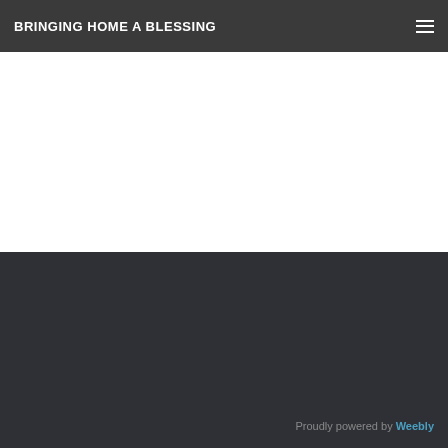BRINGING HOME A BLESSING
Proudly powered by Weebly